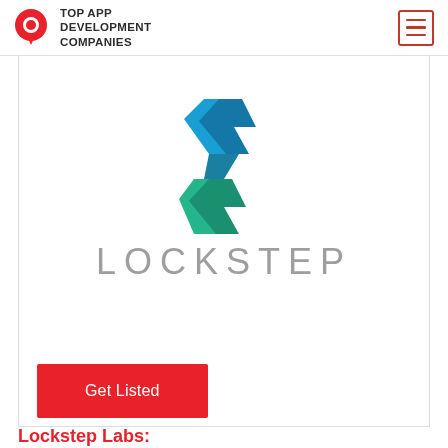TOP APP DEVELOPMENT COMPANIES
[Figure (logo): Lockstep logo — stylized 'S' shape in blue and green colors above the text 'LOCKSTEP' in grey letters]
Get Listed
Lockstep Labs: